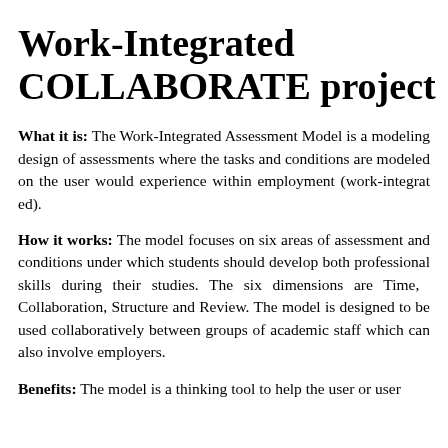Work-Integrated COLLABORATE project
What it is: The Work-Integrated Assessment Model is a m... design of assessments where the tasks and conditions are mo... the user would experience within employment (work-integrat...
How it works: The model focuses on six areas of assessmen... conditions under which students should develop both profes... during their studies. The six dimensions are Time, ... Collaboration, Structure and Review. The model is designed... collaboratively between groups of academic staff which ca... employers.
Benefits: The model is a thinking tool to help the user or use...